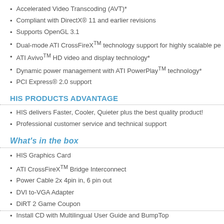Accelerated Video Transcoding (AVT)*
Compliant with DirectX® 11 and earlier revisions
Supports OpenGL 3.1
Dual-mode ATI CrossFireX™ technology support for highly scalable pe…
ATI Avivo™ HD video and display technology*
Dynamic power management with ATI PowerPlay™ technology*
PCI Express® 2.0 support
HIS PRODUCTS ADVANTAGE
HIS delivers Faster, Cooler, Quieter plus the best quality product!
Professional customer service and technical support
What's in the box
HIS Graphics Card
ATI CrossFireX™ Bridge Interconnect
Power Cable 2x 4pin in, 6 pin out
DVI to-VGA Adapter
DiRT 2 Game Coupon
Install CD with Multilingual User Guide and BumpTop
Quick Installation Guide
HIS Power Up Label